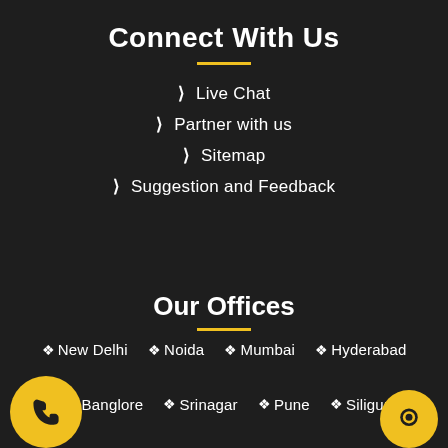Connect With Us
Live Chat
Partner with us
Sitemap
Suggestion and Feedback
Our Offices
New Delhi  Noida  Mumbai  Hyderabad
Banglore  Srinagar  Pune  Siliguri